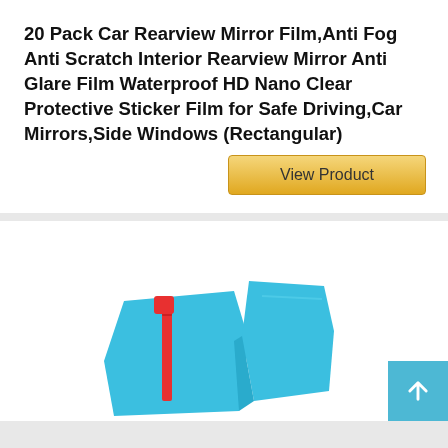20 Pack Car Rearview Mirror Film,Anti Fog Anti Scratch Interior Rearview Mirror Anti Glare Film Waterproof HD Nano Clear Protective Sticker Film for Safe Driving,Car Mirrors,Side Windows (Rectangular)
View Product
[Figure (illustration): Product illustration showing blue car mirror protective film/stickers with red accent pieces, partially visible at bottom of page]